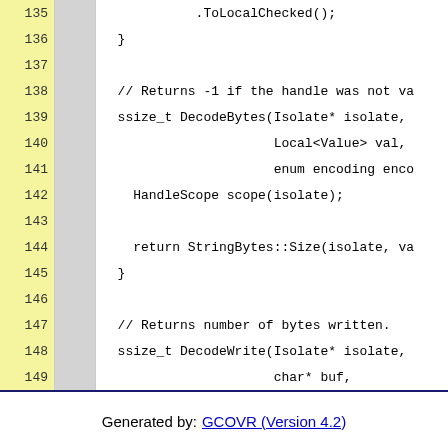[Figure (screenshot): Code coverage report showing lines 135-156 of a C++ source file with line numbers, coverage columns, and syntax-highlighted code. Pink rows indicate hit lines, white rows indicate non-covered or non-executable lines.]
Generated by: GCOVR (Version 4.2)